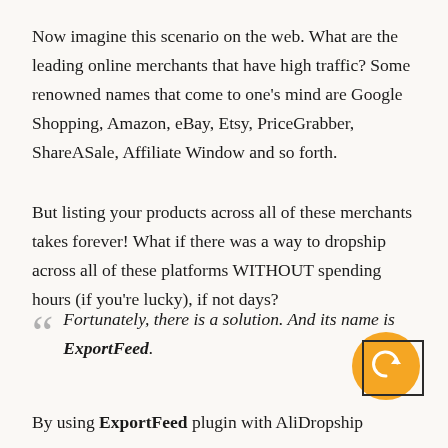Now imagine this scenario on the web. What are the leading online merchants that have high traffic? Some renowned names that come to one's mind are Google Shopping, Amazon, eBay, Etsy, PriceGrabber, ShareASale, Affiliate Window and so forth.
But listing your products across all of these merchants takes forever! What if there was a way to dropship across all of these platforms WITHOUT spending hours (if you're lucky), if not days?
Fortunately, there is a solution. And its name is ExportFeed.
By using ExportFeed plugin with AliDropship